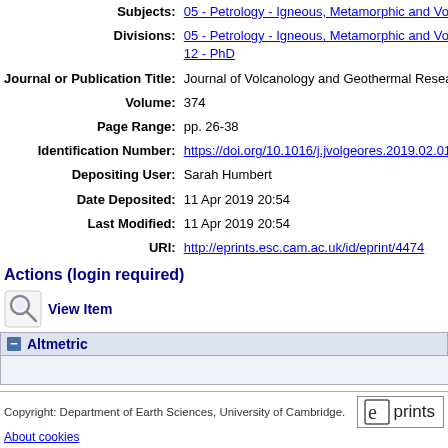| Subjects: | 05 - Petrology - Igneous, Metamorphic and Volc… |
| Divisions: | 05 - Petrology - Igneous, Metamorphic and Volc…
12 - PhD |
| Journal or Publication Title: | Journal of Volcanology and Geothermal Resea… |
| Volume: | 374 |
| Page Range: | pp. 26-38 |
| Identification Number: | https://doi.org/10.1016/j.jvolgeores.2019.02.013 |
| Depositing User: | Sarah Humbert |
| Date Deposited: | 11 Apr 2019 20:54 |
| Last Modified: | 11 Apr 2019 20:54 |
| URI: | http://eprints.esc.cam.ac.uk/id/eprint/4474 |
Actions (login required)
View Item
Altmetric
Copyright: Department of Earth Sciences, University of Cambridge.
About cookies